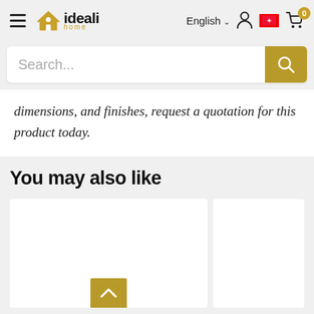ideali home — English | HK | Cart 0
dimensions, and finishes, request a quotation for this product today.
You may also like
[Figure (screenshot): Product card placeholder (white box) with a scroll-to-top button (gold/tan chevron up arrow) at the bottom center, and a partial second product card to the right]